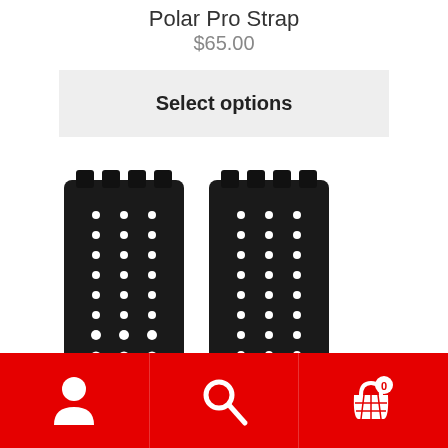Polar Pro Strap
$65.00
Select options
[Figure (photo): Two black perforated silicone watch straps shown side by side with a buckle clasp visible at the bottom]
User icon | Search icon | Shopping cart icon with badge showing 0